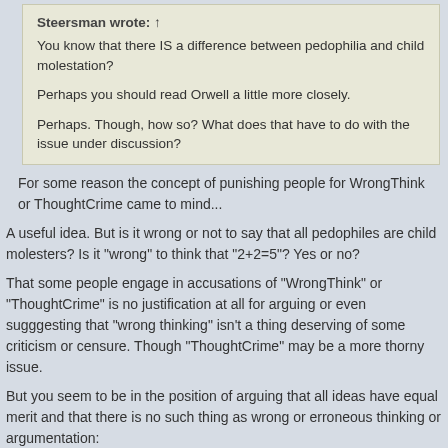Steersman wrote: ↑
You know that there IS a difference between pedophilia and child molestation?

Perhaps you should read Orwell a little more closely.

Perhaps. Though, how so? What does that have to do with the issue under discussion?
For some reason the concept of punishing people for WrongThink or ThoughtCrime came to mind...
A useful idea. But is it wrong or not to say that all pedophiles are child molesters? Is it "wrong" to think that "2+2=5"? Yes or no?
That some people engage in accusations of "WrongThink" or "ThoughtCrime" is no justification at all for arguing or even sugggesting that "wrong thinking" isn't a thing deserving of some criticism or censure. Though "ThoughtCrime" may be a more thorny issue.
But you seem to be in the position of arguing that all ideas have equal merit and that there is no such thing as wrong or erroneous thinking or argumentation: